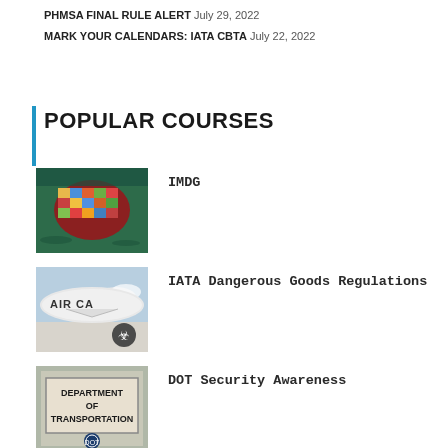PHMSA FINAL RULE ALERT July 29, 2022
MARK YOUR CALENDARS: IATA CBTA July 22, 2022
POPULAR COURSES
[Figure (photo): Aerial view of a colorful shipping container ship with a red hull, viewed from above]
IMDG
[Figure (photo): Side of an air cargo aircraft with AIR CARGO text and biohazard symbol]
IATA Dangerous Goods Regulations
[Figure (photo): Department of Transportation sign on a building]
DOT Security Awareness